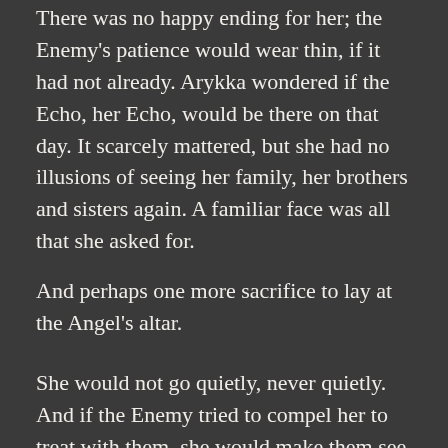There was no happy ending for her; the Enemy's patience would wear thin, if it had not already. Arykka wondered if the Echo, her Echo, would be there on that day. It scarcely mattered, but she had no illusions of seeing her family, her brothers and sisters again. A familiar face was all that she asked for.
And perhaps one more sacrifice to lay at the Angel's altar.
She would not go quietly, never quietly. And if the Enemy tried to compel her to treat with them, she would make them see that even a caged Evea'shi could be a fragment of the apocalypse unto herself.